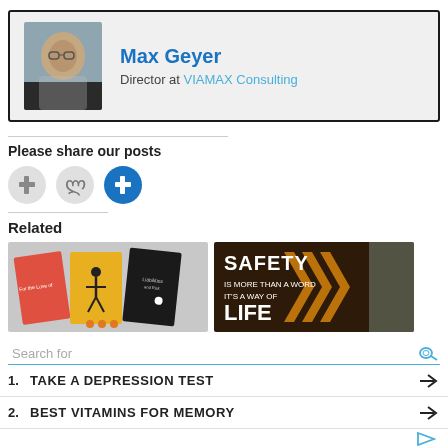[Figure (photo): Profile card for Max Geyer, Director at VIAMAX Consulting, with a headshot photo on the left]
Max Geyer
Director at VIAMAX Consulting
Please share our posts
[Figure (infographic): Three social share icon circles: grey Facebook, grey Google/share, blue LinkedIn]
Related
[Figure (photo): Book covers collage on the left and a Safety banner on the right saying SAFETY IS MORE THAN A WORD ITS A WAY OF LIFE]
Search for
1. TAKE A DEPRESSION TEST
2. BEST VITAMINS FOR MEMORY